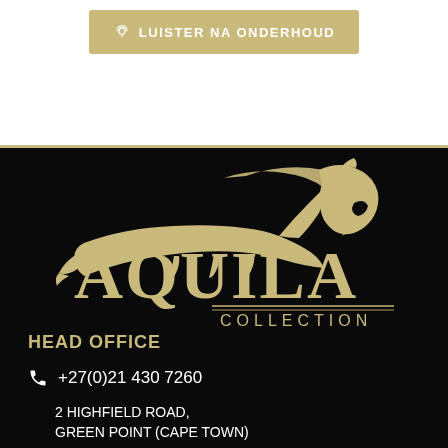[Figure (logo): Gold button with podcast icon and text LUISTER NA ONDERHOUD on white background]
[Figure (logo): Aquila Collection logo - gold text AQUILA with COLLECTION below, gold lion silhouette on black background]
HEAD OFFICE
+27(0)21 430 7260
2 HIGHFIELD ROAD, GREEN POINT (CAPE TOWN)